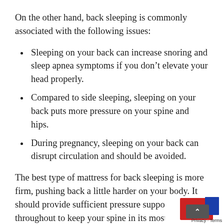On the other hand, back sleeping is commonly associated with the following issues:
Sleeping on your back can increase snoring and sleep apnea symptoms if you don’t elevate your head properly.
Compared to side sleeping, sleeping on your back puts more pressure on your spine and hips.
During pregnancy, sleeping on your back can disrupt circulation and should be avoided.
The best type of mattress for back sleeping is more firm, pushing back a little harder on your body. It should provide sufficient pressure support throughout to keep your spine in its most natural position. Compared to side and stomach sleep…